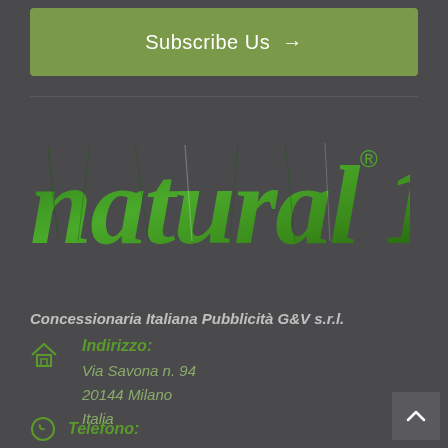Subscribe Us →
[Figure (logo): natural 1 logo with green leaf-textured letters on dark background, with registered trademark symbol]
Concessionaria Italiana Pubblicità G&V s.r.l.
Indirizzo:
Via Savona n. 94
20144 Milano
Italia
Telefono: